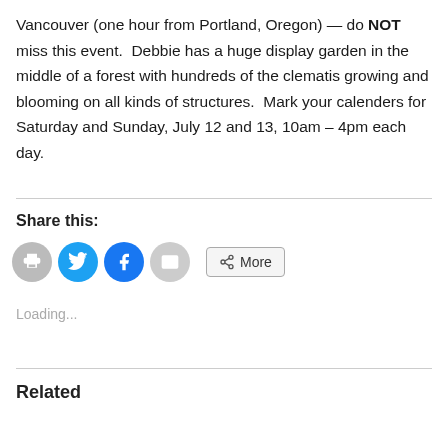Vancouver (one hour from Portland, Oregon) — do NOT miss this event.  Debbie has a huge display garden in the middle of a forest with hundreds of the clematis growing and blooming on all kinds of structures.  Mark your calenders for Saturday and Sunday, July 12 and 13, 10am – 4pm each day.
Share this:
[Figure (screenshot): Social sharing buttons: print (gray circle), Twitter (blue circle), Facebook (blue circle), email (gray circle), and a 'More' button with share icon]
Loading...
Related